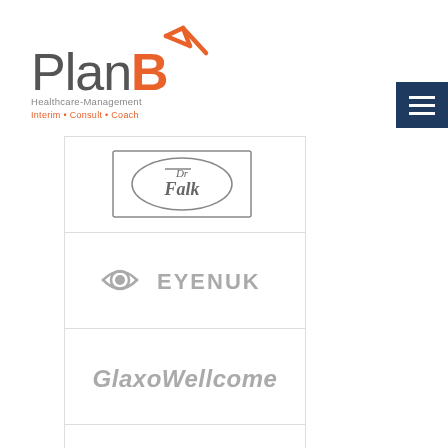[Figure (logo): PlanB Healthcare-Management logo with orange arrow and tagline: Interim • Consult • Coach]
[Figure (other): Hamburger menu button (three horizontal lines) on dark navy blue background]
[Figure (logo): Dr. Falk Pharma logo — oval with Dr Falk text inside a rectangle border]
[Figure (logo): Eyenuk logo — eye icon with the word EYENUK in gray capital letters]
[Figure (logo): GlaxoWellcome logo — company name in bold italic gray text]
[Figure (logo): Partial fourth logo cell at bottom (cut off)]